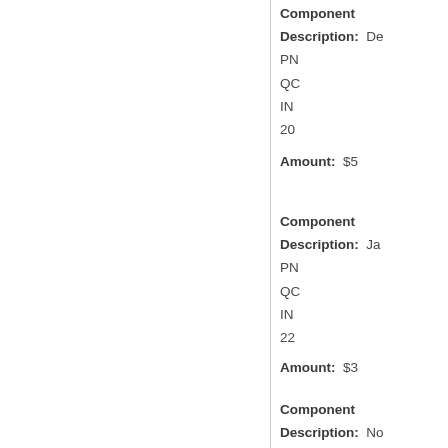Component Description: De
PN
QC
IN
20
Amount: $5
Component Description: Ja
PN
QC
IN
22
Amount: $3
Component Description: No
PN
QC
IN
23
Amount: $1